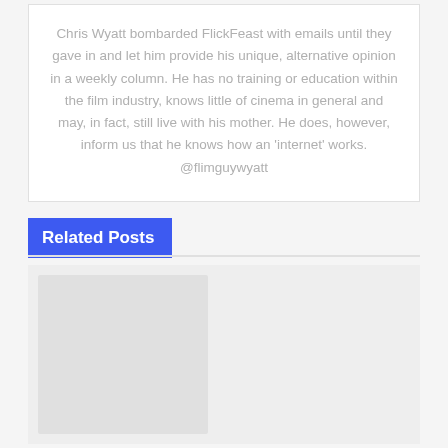Chris Wyatt bombarded FlickFeast with emails until they gave in and let him provide his unique, alternative opinion in a weekly column. He has no training or education within the film industry, knows little of cinema in general and may, in fact, still live with his mother. He does, however, inform us that he knows how an 'internet' works. @flimguywyatt
Related Posts
[Figure (photo): Placeholder image area for related posts, light gray background with a slightly darker gray inner rectangle on the left side.]